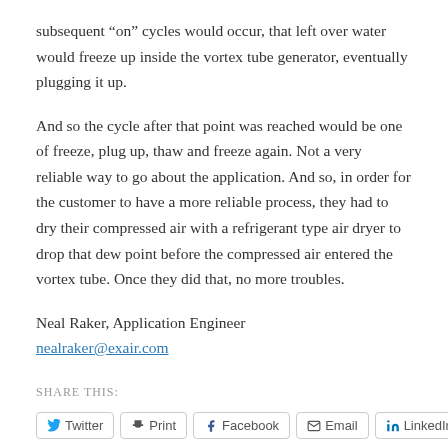subsequent “on” cycles would occur, that left over water would freeze up inside the vortex tube generator, eventually plugging it up.
And so the cycle after that point was reached would be one of freeze, plug up, thaw and freeze again. Not a very reliable way to go about the application. And so, in order for the customer to have a more reliable process, they had to dry their compressed air with a refrigerant type air dryer to drop that dew point before the compressed air entered the vortex tube. Once they did that, no more troubles.
Neal Raker, Application Engineer
nealraker@exair.com
SHARE THIS:
Twitter  Print  Facebook  Email  LinkedIn